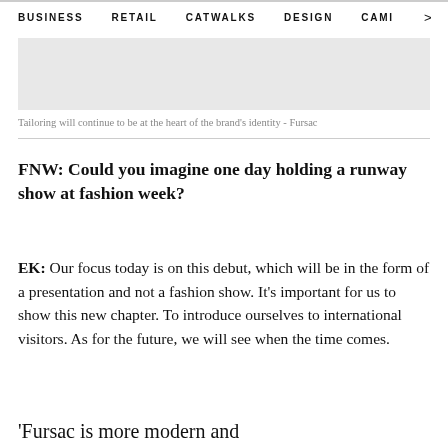BUSINESS   RETAIL   CATWALKS   DESIGN   CAMI >
[Figure (photo): Gray placeholder image — tailoring brand photo for Fursac]
Tailoring will continue to be at the heart of the brand's identity - Fursac
FNW: Could you imagine one day holding a runway show at fashion week?
EK: Our focus today is on this debut, which will be in the form of a presentation and not a fashion show. It's important for us to show this new chapter. To introduce ourselves to international visitors. As for the future, we will see when the time comes.
'Fursac is more modern and